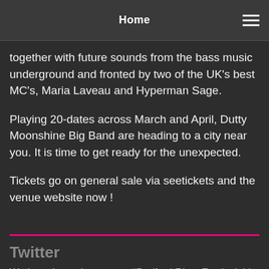Home
together with future sounds from the bass music underground and fronted by two of the UK's best MC's, Maria Laveau and Hyperman Sage.
Playing 20-dates across March and April, Dutty Moonshine Big Band are heading to a city near you. It is time to get ready for the unexpected.
Tickets go on general sale via seetickets and the venue website now !
Twitter
We host the main stage at #Bedford River Festival this weekend! Et...